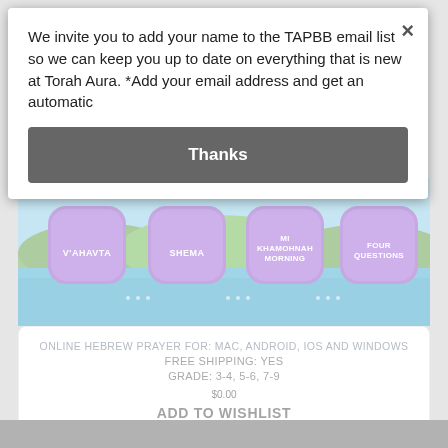We invite you to add your name to the TAPBB email list so we can keep you up to date on everything that is new at Torah Aura. *Add your email address and get an automatic
Thanks
[Figure (screenshot): Game app screenshot showing four purple bubble buttons labeled V'Ahavta, Shema, Mi Khamohnah Morning, Four Questions against a nature/water background]
ONLINE HEBREW PRAYER FOR: MAC, ANDROID, IOS AND WINDOWS
FREE SHIPPING: YES
GRADE: 3-4, 5-6, 7-9
$0.00
ADD TO WISHLIST
ADD TO COMPARE